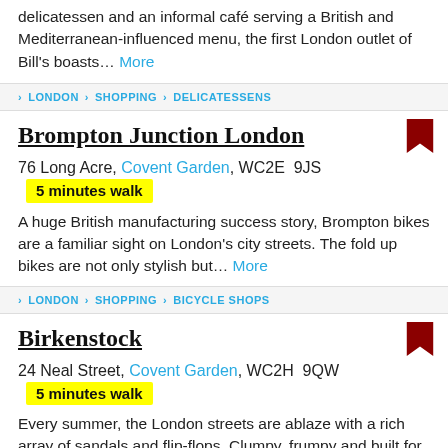delicatessen and an informal café serving a British and Mediterranean-influenced menu, the first London outlet of Bill's boasts... More
> LONDON > SHOPPING > DELICATESSENS
Brompton Junction London
76 Long Acre, Covent Garden, WC2E 9JS  5 minutes walk
A huge British manufacturing success story, Brompton bikes are a familiar sight on London's city streets. The fold up bikes are not only stylish but... More
> LONDON > SHOPPING > BICYCLE SHOPS
Birkenstock
24 Neal Street, Covent Garden, WC2H 9QW  5 minutes walk
Every summer, the London streets are ablaze with a rich array of sandals and flip-flops. Clumpy, frumpy and built for comfort, Birkenstock footwear has become... More